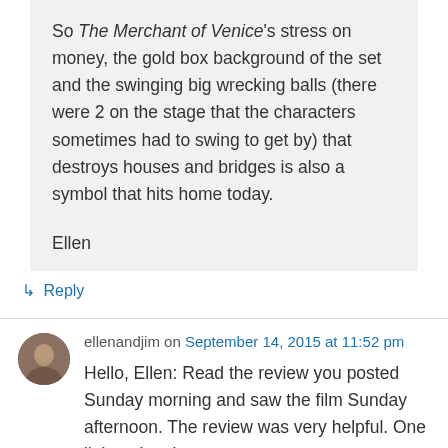So The Merchant of Venice's stress on money, the gold box background of the set and the swinging big wrecking balls (there were 2 on the stage that the characters sometimes had to swing to get by) that destroys houses and bridges is also a symbol that hits home today.

Ellen
↳ Reply
ellenandjim on September 14, 2015 at 11:52 pm
Hello, Ellen: Read the review you posted Sunday morning and saw the film Sunday afternoon. The review was very helpful. One little point: the